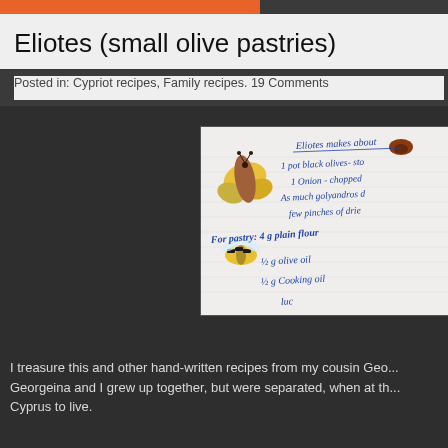Eliotes (small olive pastries)
Posted in: Cypriot recipes, Family recipes. 19 Comments
[Figure (photo): A handwritten recipe card for Eliotes, decorated with illustrations of a butterfly and a bumblebee. The handwritten text reads: Eliotes makes about... 1 pot black olives- sto... 1 Onion - chopped, As much golyandros d..., few pinches of dri..., For pastry: 4 g plain flour, 1/2 g olive oil, 1/2 g cooking oil, ...]
I treasure this and other hand-written recipes from my cousin Geo... Georgeina and I grew up together, but were separated, when at th... Cyprus to live.